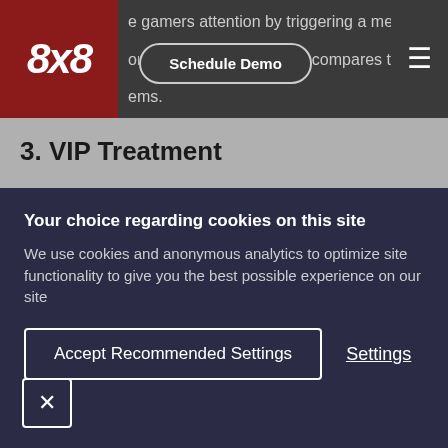8x8 | e gamers attention by triggering a mental or how a product or service compares to ems.
3. VIP Treatment
Providing special privileges and offers to customers elevates their engagement with a brand – just ask yourself what impact that
Your choice regarding cookies on this site
We use cookies and anonymous analytics to optimize site functionality to give you the best possible experience on our site
Accept Recommended Settings | Settings